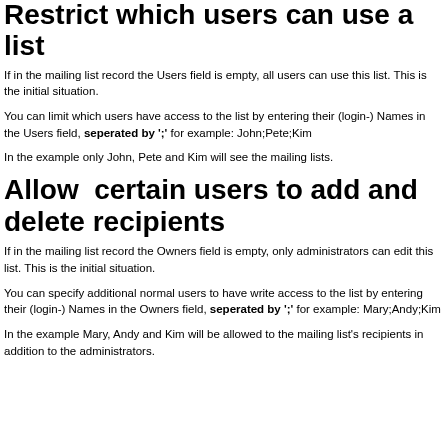Restrict which users can use a list
If in the mailing list record the Users field is empty, all users can use this list. This is the initial situation.
You can limit which users have access to the list by entering their (login-) Names in the Users field, seperated by ';' for example: John;Pete;Kim
In the example only John, Pete and Kim will see the mailing lists.
Allow certain users to add and delete recipients
If in the mailing list record the Owners field is empty, only administrators can edit this list. This is the initial situation.
You can specify additional normal users to have write access to the list by entering their (login-) Names in the Owners field, seperated by ';' for example: Mary;Andy;Kim
In the example Mary, Andy and Kim will be allowed to the mailing list's recipients in addition to the administrators.